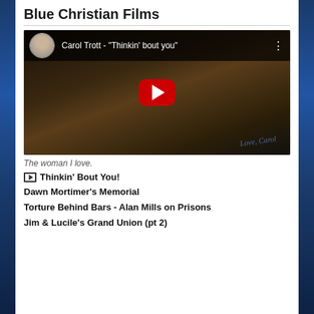Blue Christian Films
[Figure (screenshot): YouTube video embed showing Carol Trott - "Thinkin' bout you" with a sepia-toned background image of a couple on a bench and a red YouTube play button. The video has a top bar with a circular avatar photo of an older bearded man and the video title.]
The woman I love.
Thinkin' Bout You!
Dawn Mortimer's Memorial
Torture Behind Bars - Alan Mills on Prisons
Jim & Lucile's Grand Union (pt 2)